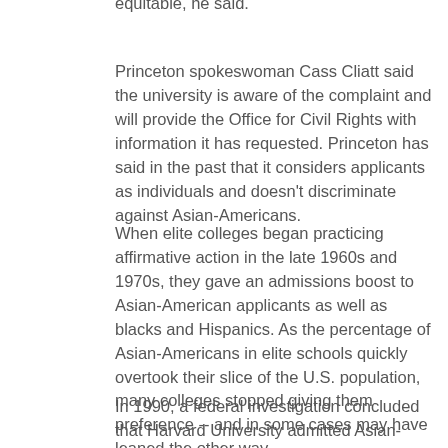equitable, he said.
Princeton spokeswoman Cass Cliatt said the university is aware of the complaint and will provide the Office for Civil Rights with information it has requested. Princeton has said in the past that it considers applicants as individuals and doesn't discriminate against Asian-Americans.
When elite colleges began practicing affirmative action in the late 1960s and 1970s, they gave an admissions boost to Asian-American applicants as well as blacks and Hispanics. As the percentage of Asian-Americans in elite schools quickly overtook their slice of the U.S. population, many colleges stopped giving them preference -- and in some cases may have leaned the other way.
In 1990, a federal investigation concluded that Harvard University admitted Asian-American applicants at a lower rate than white students despite the Asians' slightly stronger test scores